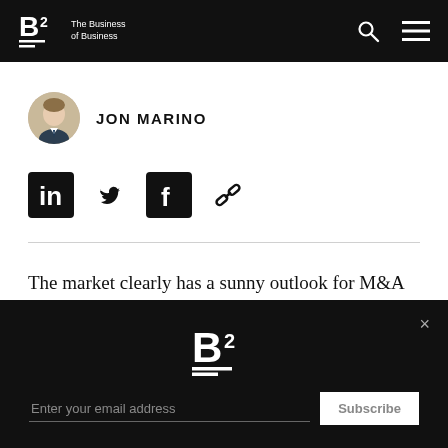The Business of Business — B2 logo, search and menu icons
[Figure (photo): Circular headshot photo of Jon Marino]
JON MARINO
[Figure (infographic): Social share icons: LinkedIn, Twitter, Facebook, Link]
The market clearly has a sunny outlook for M&A in the solar space - Vivint Solar ($VSLR) shares were catapulted to multi-year highs after agreeing to a deal to be bought by Sunrun ($RUN), another major player in
[Figure (infographic): B2 logo on dark background with email subscription form and Subscribe button]